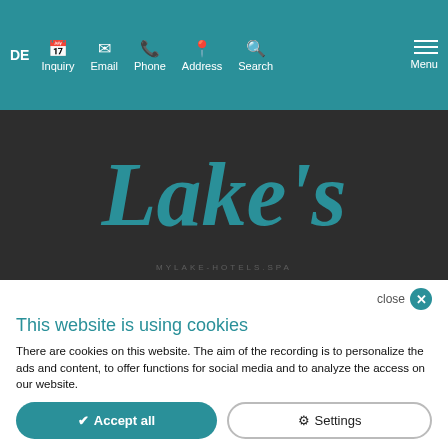DE | Inquiry | Email | Phone | Address | Search | Menu
[Figure (logo): Lake's hotel logo in teal script lettering on dark background, with url text below]
close ✕
This website is using cookies
There are cookies on this website. The aim of the recording is to personalize the ads and content, to offer functions for social media and to analyze the access on our website.
✓ Accept all   ⚙ Settings
Tool made by ncm.at